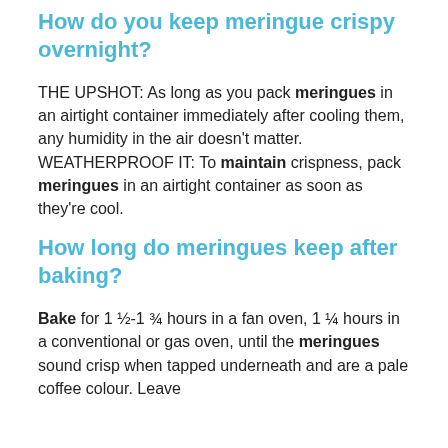How do you keep meringue crispy overnight?
THE UPSHOT: As long as you pack meringues in an airtight container immediately after cooling them, any humidity in the air doesn't matter. WEATHERPROOF IT: To maintain crispness, pack meringues in an airtight container as soon as they're cool.
How long do meringues keep after baking?
Bake for 1 ½-1 ¾ hours in a fan oven, 1 ¼ hours in a conventional or gas oven, until the meringues sound crisp when tapped underneath and are a pale coffee colour. Leave